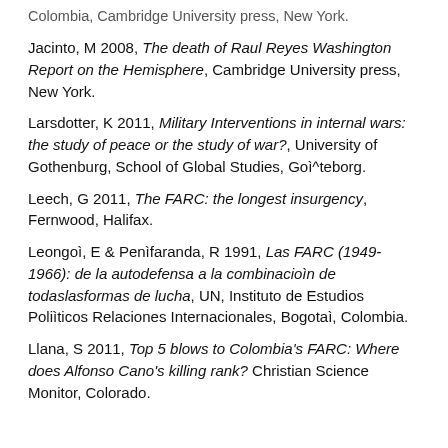Colombia, Cambridge University press, New York.
Jacinto, M 2008, The death of Raul Reyes Washington Report on the Hemisphere, Cambridge University press, New York.
Larsdotter, K 2011, Military Interventions in internal wars: the study of peace or the study of war?, University of Gothenburg, School of Global Studies, Goì^teborg.
Leech, G 2011, The FARC: the longest insurgency, Fernwood, Halifax.
Leongoì, E & Penìfaranda, R 1991, Las FARC (1949-1966): de la autodefensa a la combinacioìn de todaslasformas de lucha, UN, Instituto de Estudios Poliìticos Relaciones Internacionales, Bogotaì, Colombia.
Llana, S 2011, Top 5 blows to Colombia's FARC: Where does Alfonso Cano's killing rank? Christian Science Monitor, Colorado.